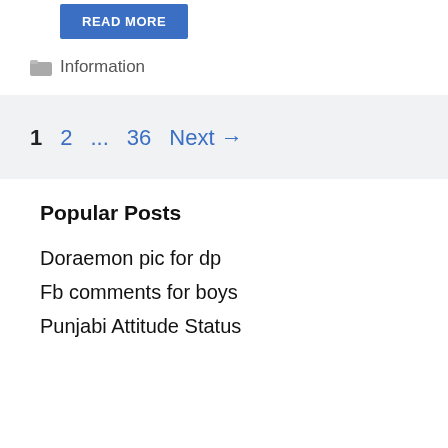READ MORE
Information
1  2  ...  36  Next →
Popular Posts
Doraemon pic for dp
Fb comments for boys
Punjabi Attitude Status